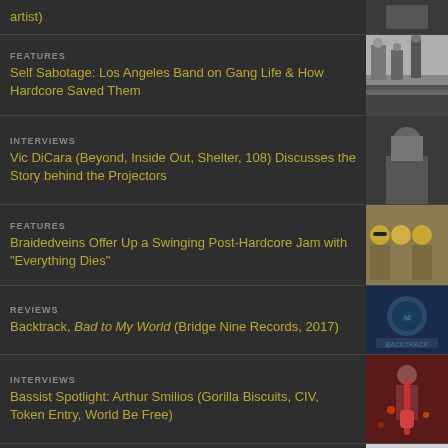artist)
FEATURES
Self Sabotage: Los Angeles Band on Gang Life & How Hardcore Saved Them
INTERVIEWS
Vic DiCara (Beyond, Inside Out, Shelter, 108) Discusses the Story behind the Projectors
FEATURES
Braidedveins Offer Up a Swinging Post-Hardcore Jam with "Everything Dies"
REVIEWS
Backtrack, Bad to My World (Bridge Nine Records, 2017)
INTERVIEWS
Bassist Spotlight: Arthur Smilios (Gorilla Biscuits, CIV, Token Entry, World Be Free)
REVIEWS
Spirit Crusher, Demo 2015 (Power & Equality, 2015)